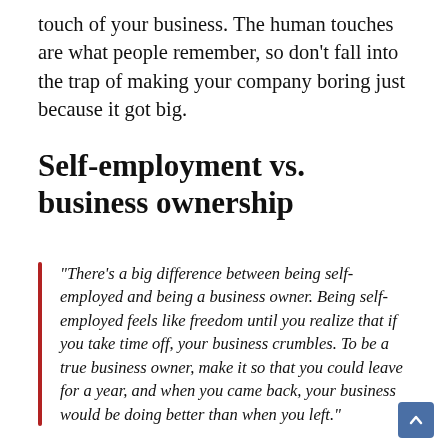touch of your business. The human touches are what people remember, so don't fall into the trap of making your company boring just because it got big.
Self-employment vs. business ownership
“There’s a big difference between being self-employed and being a business owner. Being self-employed feels like freedom until you realize that if you take time off, your business crumbles. To be a true business owner, make it so that you could leave for a year, and when you came back, your business would be doing better than when you left.”